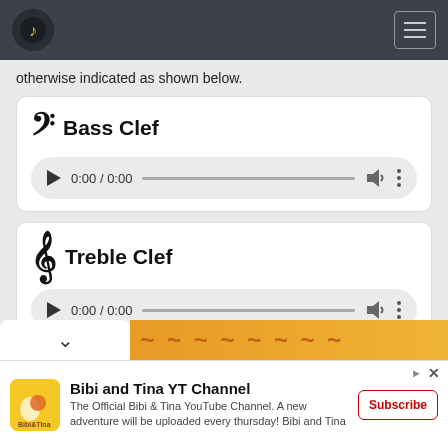Music notation website header with logo and hamburger menu
otherwise indicated as shown below.
𝄢  Bass Clef
[Figure (screenshot): Audio player showing 0:00 / 0:00 with play button, progress bar, volume and more options]
𝄞  Treble Clef
[Figure (screenshot): Audio player showing 0:00 / 0:00 with play button, progress bar, volume and more options]
[Figure (screenshot): Advertisement for Bibi and Tina YT Channel with subscribe button]